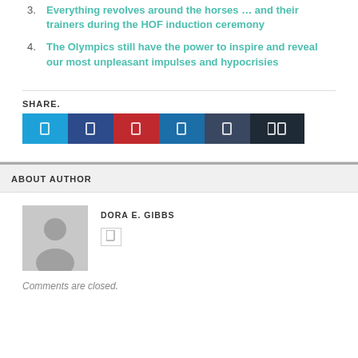3. Everything revolves around the horses … and their trainers during the HOF induction ceremony
4. The Olympics still have the power to inspire and reveal our most unpleasant impulses and hypocrisies
SHARE.
[Figure (infographic): Six social media share buttons: Twitter (light blue), Facebook (dark blue), Pinterest (red), LinkedIn (blue), Tumblr (dark slate), and another dark button with double-square icon]
ABOUT AUTHOR
[Figure (photo): Generic grey avatar silhouette placeholder image]
DORA E. GIBBS
Comments are closed.